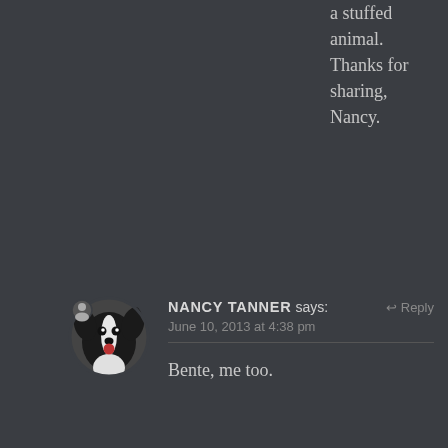a stuffed animal. Thanks for sharing, Nancy.
[Figure (photo): Circular avatar photo of a Border Collie dog with black and white fur, tongue out, with a small user icon badge overlay]
NANCY TANNER says:
June 10, 2013 at 4:38 pm
Reply
Bente, me too.
[Figure (illustration): Circular avatar with a red and white geometric quilt-like pattern]
LISA says:
June 10, 2013 at 3:58 pm
Reply
My thoughts are with you Nancy. Not so long ago I travelled a similar road with my beautiful Jessie and she too sort to